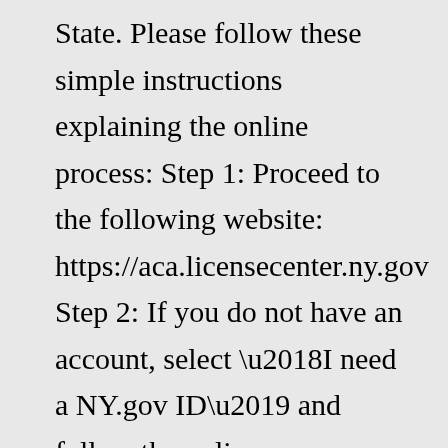State. Please follow these simple instructions explaining the online process: Step 1: Proceed to the following website: https://aca.licensecenter.ny.gov Step 2: If you do not have an account, select ‘I need a NY.gov ID’ and follow the online instructions for creating an account. The renewal of all licenses granted under the provisions of this article shall be conditioned upon the submission of a certificate of completion of a commissioner